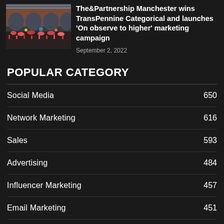[Figure (photo): Outdoor concert or festival scene with a red brick bridge/viaduct in the background, colorful crowd in foreground]
The&Partnership Manchester wins TransPennine Categorical and launches 'On observe to higher' marketing campaign
September 2, 2022
POPULAR CATEGORY
Social Media  650
Network Marketing  616
Sales  593
Advertising  484
Influencer Marketing  457
Email Marketing  451
Marketing  447
PR  425